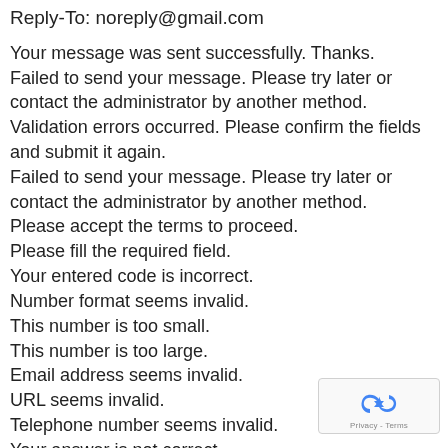Reply-To: noreply@gmail.com
Your message was sent successfully. Thanks.
Failed to send your message. Please try later or contact the administrator by another method.
Validation errors occurred. Please confirm the fields and submit it again.
Failed to send your message. Please try later or contact the administrator by another method.
Please accept the terms to proceed.
Please fill the required field.
Your entered code is incorrect.
Number format seems invalid.
This number is too small.
This number is too large.
Email address seems invalid.
URL seems invalid.
Telephone number seems invalid.
Your answer is not correct.
Date format seems invalid.
[Figure (logo): Google reCAPTCHA badge with recaptcha logo and Privacy - Terms text]